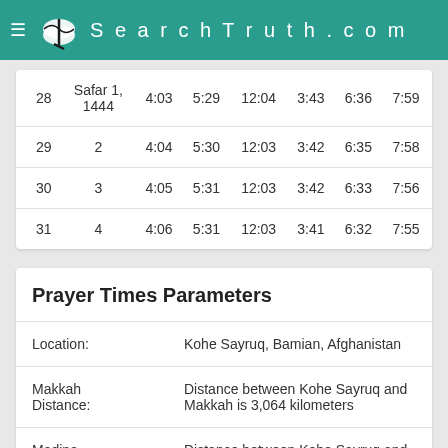SearchTruth.com
| Day | Islamic Date | Col3 | Col4 | Col5 | Col6 | Col7 | Col8 |
| --- | --- | --- | --- | --- | --- | --- | --- |
| 28 | Safar 1, 1444 | 4:03 | 5:29 | 12:04 | 3:43 | 6:36 | 7:59 |
| 29 | 2 | 4:04 | 5:30 | 12:03 | 3:42 | 6:35 | 7:58 |
| 30 | 3 | 4:05 | 5:31 | 12:03 | 3:42 | 6:33 | 7:56 |
| 31 | 4 | 4:06 | 5:31 | 12:03 | 3:41 | 6:32 | 7:55 |
Prayer Times Parameters
| Parameter | Value |
| --- | --- |
| Location: | Kohe Sayruq, Bamian, Afghanistan |
| Makkah Distance: | Distance between Kohe Sayruq and Makkah is 3,064 kilometers |
| Madina | Distance between Kohe Sayruq and Madina is |